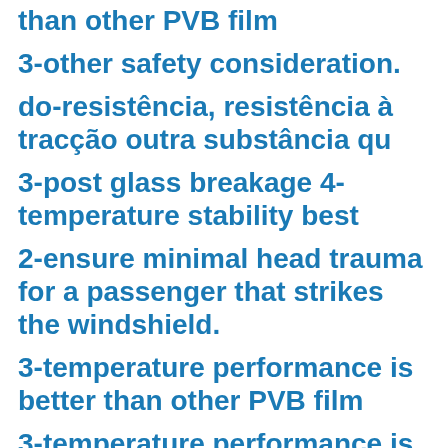than other PVB film
3-other safety consideration.
do-resistência, resistência à tracção outra substância qu
3-post glass breakage 4-temperature stability best
2-ensure minimal head trauma for a passenger that strikes the windshield.
3-temperature performance is better than other PVB film
3-temperature performance is better than other PVB film